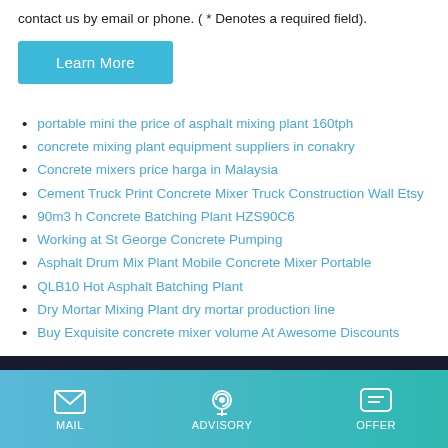contact us by email or phone. ( * Denotes a required field).
[Figure (other): Teal/blue 'Learn More' button]
portable mini the price of asphalt mixing plant 160tph
concrete mixing plant equipment suppliers in conakry
Concrete mixers price harga in Malaysia
Cement Truck Print Concrete Mixer Truck Construction Wall Etsy
90m3 h Concrete Batching Plant HZS90C6
Working at St George Concrete Pumping
Asphalt Drum Mix Plant Mobile Concrete Mixer Portable
QLB10 Hot Asphalt Batching Plant
Dry Mortar Mixing Plant dry mortar production line
Buy Exquisite concrete mixer volume At Awesome Discounts
MAIL  ADVISORY  OFFER